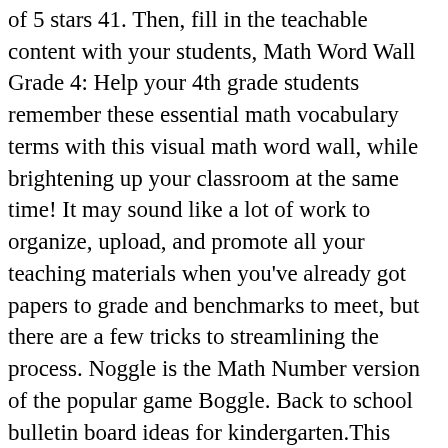of 5 stars 41. Then, fill in the teachable content with your students, Math Word Wall Grade 4: Help your 4th grade students remember these essential math vocabulary terms with this visual math word wall, while brightening up your classroom at the same time! It may sound like a lot of work to organize, upload, and promote all your teaching materials when you've already got papers to grade and benchmarks to meet, but there are a few tricks to streamlining the process. Noggle is the Math Number version of the popular game Boggle. Back to school bulletin board ideas for kindergarten.This section has a lot of bulletin board ideas for preschool.This section has a lot of bulletin board ideas for preschool teachers. The four charts illustrate the meaning of decimals, the different forms of decimals, and the step-by-step procedures used to complete operations with decimals. Or mix and match the content areas for your alphabet! A great getting to know you activity, the included math autobiography page gives students the personal information they need to describe themselves using addition, subtraction, measurement, base ten, Are you looking for a fun way to review place value and expanded